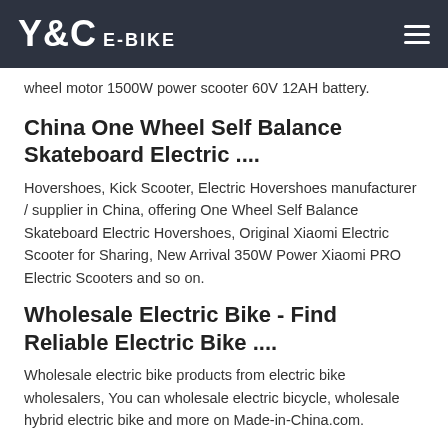Y&C E-BIKE
wheel motor 1500W power scooter 60V 12AH battery.
China One Wheel Self Balance Skateboard Electric ....
Hovershoes, Kick Scooter, Electric Hovershoes manufacturer / supplier in China, offering One Wheel Self Balance Skateboard Electric Hovershoes, Original Xiaomi Electric Scooter for Sharing, New Arrival 350W Power Xiaomi PRO Electric Scooters and so on.
Wholesale Electric Bike - Find Reliable Electric Bike ....
Wholesale electric bike products from electric bike wholesalers, You can wholesale electric bicycle, wholesale hybrid electric bike and more on Made-in-China.com.
electric bike 250w | Gumtree Australia Free